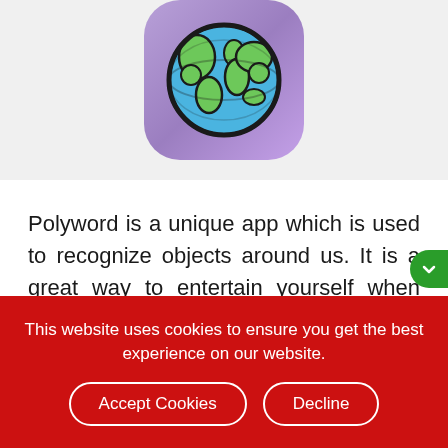[Figure (illustration): App icon for Polyword app — a rounded rectangle with purple gradient background containing a cartoon globe emoji (earth with blue oceans and green landmasses, black outline)]
Polyword is a unique app which is used to recognize objects around us. It is a great way to entertain yourself when you’re bored by identifying objects around you.
That’s not all, it’s also able to translate the object identified into 30 different languages.
This website uses cookies to ensure you get the best experience on our website.
Accept Cookies
Decline